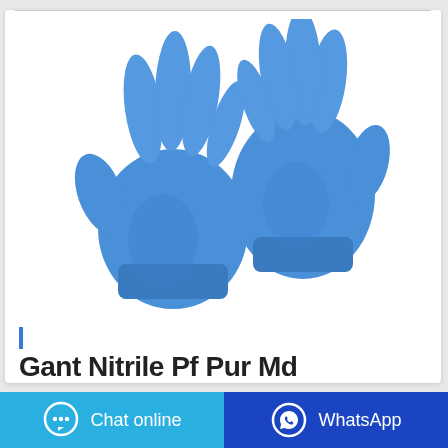[Figure (photo): Two blue nitrile disposable gloves displayed on white background]
Gant Nitrile Pf Pur Md
Chat online
WhatsApp